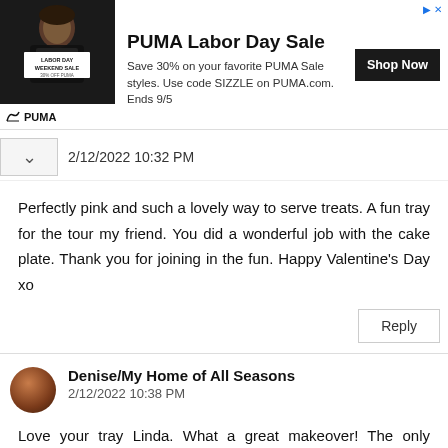[Figure (infographic): PUMA Labor Day Sale advertisement banner with image of person on left, ad text in middle, and Shop Now button on right]
2/12/2022 10:32 PM
Perfectly pink and such a lovely way to serve treats. A fun tray for the tour my friend. You did a wonderful job with the cake plate. Thank you for joining in the fun. Happy Valentine's Day xo
Reply
Denise/My Home of All Seasons
2/12/2022 10:38 PM
Love your tray Linda. What a great makeover! The only problem is that now I'm going through the kitchen looking for sweets! Everything looks so yummy! Great